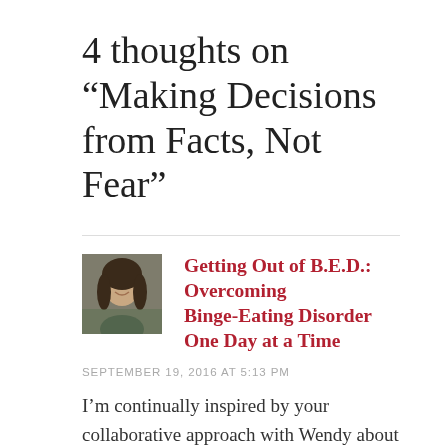4 thoughts on “Making Decisions from Facts, Not Fear”
[Figure (photo): Small avatar photo of a woman with long dark hair, smiling, with outdoor background]
Getting Out of B.E.D.: Overcoming Binge-Eating Disorder One Day at a Time
SEPTEMBER 19, 2016 AT 5:13 PM
I’m continually inspired by your collaborative approach with Wendy about her care. It’s so wonderful to hear that she’s feeling empowered and is enjoying the new sports